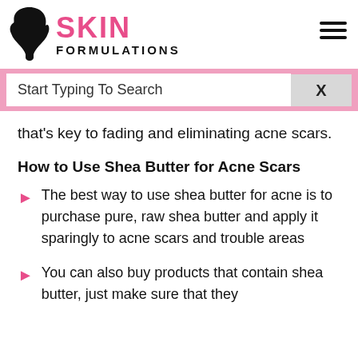SKIN FORMULATIONS
that's key to fading and eliminating acne scars.
How to Use Shea Butter for Acne Scars
The best way to use shea butter for acne is to purchase pure, raw shea butter and apply it sparingly to acne scars and trouble areas
You can also buy products that contain shea butter, just make sure that they